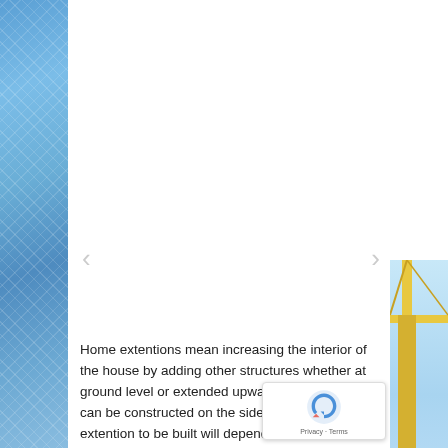[Figure (photo): Left side strip showing a modern glass building facade with blue reflective windows in a diagonal grid pattern]
[Figure (photo): Right side strip showing blue sky at top and a yellow construction crane at bottom]
[Figure (illustration): Navigation arrow left (chevron) for image slideshow]
[Figure (illustration): Navigation arrow right (chevron) for image slideshow]
Home extentions mean increasing the interior of the house by adding other structures whether at ground level or extended upwards. The extentions can be constructed on the side or on the rear. The extention to be built will depend on the size of the garden and design of the house.
Homeowners in Alma are increasingly opting for